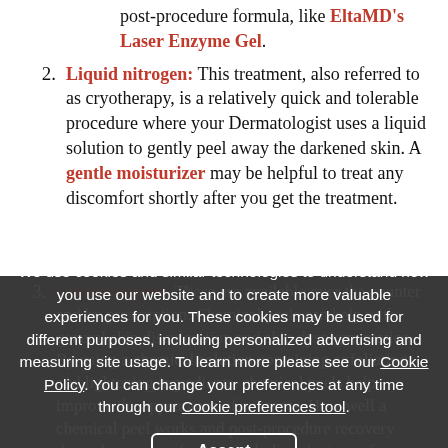post-procedure formula, like EltaMD's Laser Enzyme Gel.
Liquid nitrogen: This treatment, also referred to as cryotherapy, is a relatively quick and tolerable procedure where your Dermatologist uses a liquid solution to gently peel away the darkened skin. A gentle moisturizer may be helpful to treat any discomfort shortly after you get the treatment.
Chemical peels: These are available over the counter and by prescription. Chemical peels can help with general skin discoloration and skin dyspigmentation. By using a chemical solution containing exfoliating and lightening ingredients, chemical peels help improve the appearance of sunspots. How well a chemical peel works and post-procedure recovery depends on a few factors, including the type of chemical peel used, how long it's left on your skin, and your skin type.
We use cookies and similar technologies to understand how you use our website and to create more valuable experiences for you. These cookies may be used for different purposes, including personalized advertising and measuring site usage. To learn more please see our Cookie Policy. You can change your preferences at any time through our Cookie preferences tool.